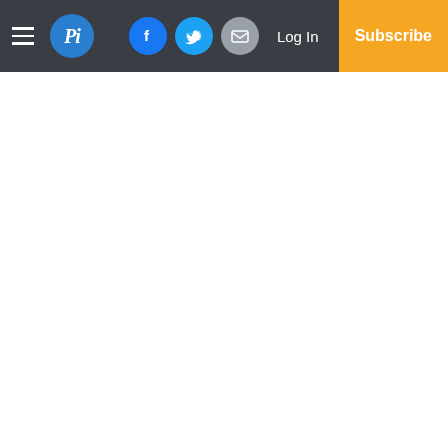Pi — Navigation bar with logo, social icons, Log In, Subscribe
Another West Nile virus, chinkungunya